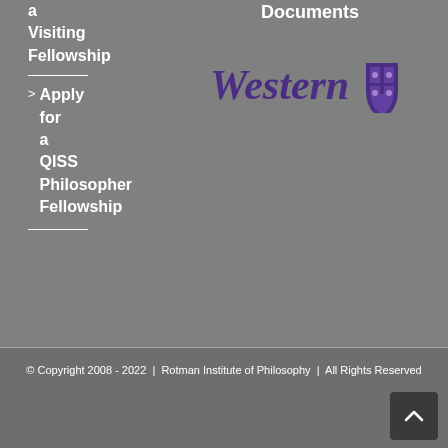a Visiting Fellowship
> Apply for a QISS Philosopher Fellowship
[Figure (logo): Western University logo with purple wordmark 'Western' in italic serif font and a purple shield crest icon]
Documents
© Copyright 2008 - 2022  |  Rotman Institute of Philosophy  |  All Rights Reserved